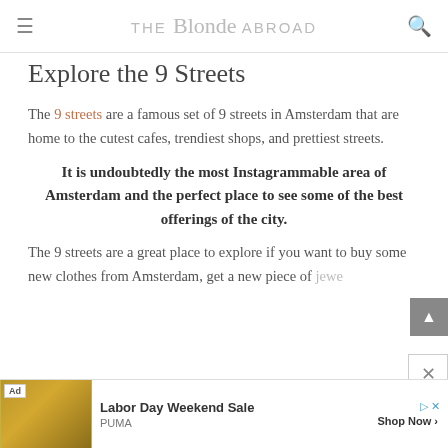THE Blonde ABROAD
Explore the 9 Streets
The 9 streets are a famous set of 9 streets in Amsterdam that are home to the cutest cafes, trendiest shops, and prettiest streets.
It is undoubtedly the most Instagrammable area of Amsterdam and the perfect place to see some of the best offerings of the city.
The 9 streets are a great place to explore if you want to buy some new clothes from Amsterdam, get a new piece of jewelry, or simply explore the canal streets of Amsterdam.
[Figure (other): Advertisement banner for Puma Labor Day Weekend Sale]